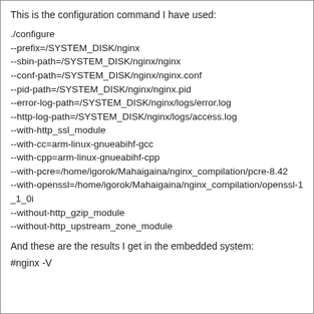This is the configuration command I have used:
./configure
--prefix=/SYSTEM_DISK/nginx
--sbin-path=/SYSTEM_DISK/nginx/nginx
--conf-path=/SYSTEM_DISK/nginx/nginx.conf
--pid-path=/SYSTEM_DISK/nginx/nginx.pid
--error-log-path=/SYSTEM_DISK/nginx/logs/error.log
--http-log-path=/SYSTEM_DISK/nginx/logs/access.log
--with-http_ssl_module
--with-cc=arm-linux-gnueabihf-gcc
--with-cpp=arm-linux-gnueabihf-cpp
--with-pcre=/home/igorok/Mahaigaina/nginx_compilation/pcre-8.42
--with-openssl=/home/igorok/Mahaigaina/nginx_compilation/openssl-1_1_0i
--without-http_gzip_module
--without-http_upstream_zone_module
And these are the results I get in the embedded system:
#nginx -V